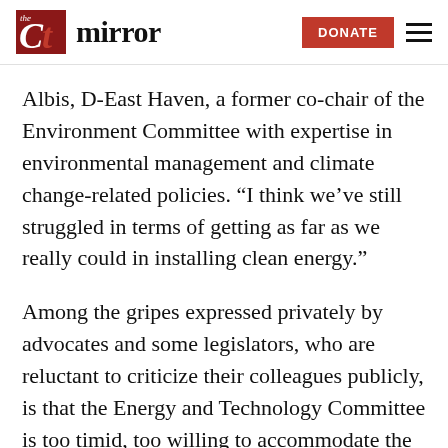the CT mirror | DONATE
Albis, D-East Haven, a former co-chair of the Environment Committee with expertise in environmental management and climate change-related policies. “I think we’ve still struggled in terms of getting as far as we really could in installing clean energy.”
Among the gripes expressed privately by advocates and some legislators, who are reluctant to criticize their colleagues publicly, is that the Energy and Technology Committee is too timid, too willing to accommodate the utilities, overly consumed